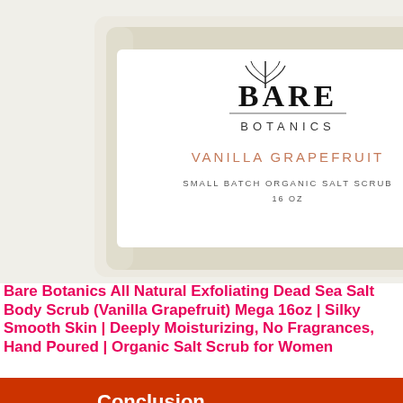[Figure (photo): Bare Botanics jar of Vanilla Grapefruit Small Batch Organic Salt Scrub 16oz, showing the product label with a botanical leaf illustration, the brand name BARE BOTANICS, and product details in an elegant serif/sans-serif typography on a white label against the glass jar.]
Bare Botanics All Natural Exfoliating Dead Sea Salt Body Scrub (Vanilla Grapefruit) Mega 16oz | Silky Smooth Skin | Deeply Moisturizing, No Fragrances, Hand Poured | Organic Salt Scrub for Women
Conclusion
Privacy & Cookies: This site uses cookies. By continuing to use this website, you agree to their use.
All about Beauty & Fitness
visit triceyshaircollection.shop/ to learn more
www.triceyshaircollection.shop